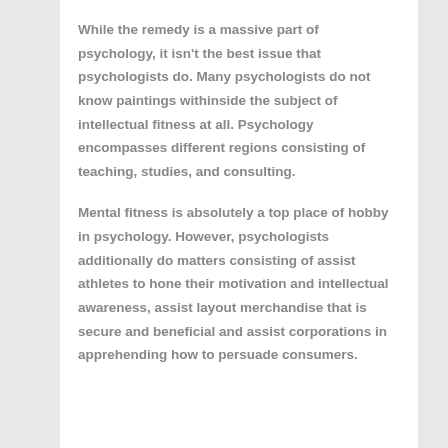While the remedy is a massive part of psychology, it isn't the best issue that psychologists do. Many psychologists do not know paintings withinside the subject of intellectual fitness at all. Psychology encompasses different regions consisting of teaching, studies, and consulting.
Mental fitness is absolutely a top place of hobby in psychology. However, psychologists additionally do matters consisting of assist athletes to hone their motivation and intellectual awareness, assist layout merchandise that is secure and beneficial and assist corporations in apprehending how to persuade consumers.